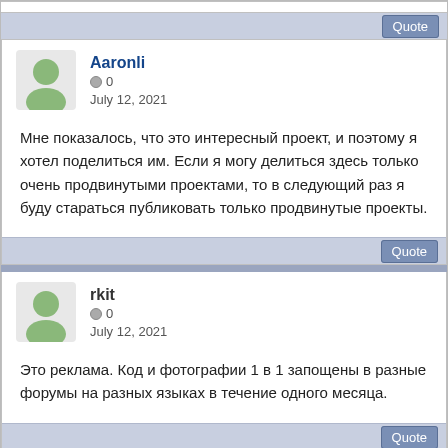Quote (top clipped post footer)
Aaronli • 0
July 12, 2021
Мне показалось, что это интересный проект, и поэтому я хотел поделиться им. Если я могу делиться здесь только очень продвинутыми проектами, то в следующий раз я буду стараться публиковать только продвинутые проекты.
Quote
rkit • 0
July 12, 2021
Это реклама. Код и фотографии 1 в 1 запощены в разные форумы на разных языках в течение одного месяца.
Quote (bottom)